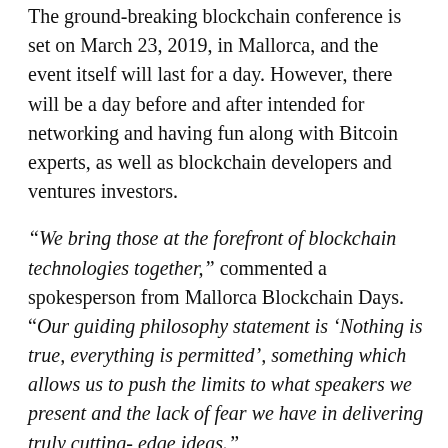The ground-breaking blockchain conference is set on March 23, 2019, in Mallorca, and the event itself will last for a day. However, there will be a day before and after intended for networking and having fun along with Bitcoin experts, as well as blockchain developers and ventures investors.
“We bring those at the forefront of blockchain technologies together,” commented a spokesperson from Mallorca Blockchain Days. “Our guiding philosophy statement is ‘Nothing is true, everything is permitted’, something which allows us to push the limits to what speakers we present and the lack of fear we have in delivering truly cutting- edge ideas.”
A plethora of Bitcoin investors and blockchain specialists will present their speeches at the conference. Some of the names include